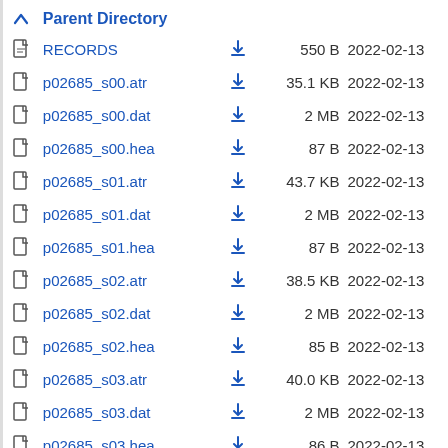|  | Name |  | Size | Date |
| --- | --- | --- | --- | --- |
| ↑ | Parent Directory |  |  |  |
| 📄 | RECORDS | ⬇ | 550 B | 2022-02-13 |
| 📄 | p02685_s00.atr | ⬇ | 35.1 KB | 2022-02-13 |
| 📄 | p02685_s00.dat | ⬇ | 2 MB | 2022-02-13 |
| 📄 | p02685_s00.hea | ⬇ | 87 B | 2022-02-13 |
| 📄 | p02685_s01.atr | ⬇ | 43.7 KB | 2022-02-13 |
| 📄 | p02685_s01.dat | ⬇ | 2 MB | 2022-02-13 |
| 📄 | p02685_s01.hea | ⬇ | 87 B | 2022-02-13 |
| 📄 | p02685_s02.atr | ⬇ | 38.5 KB | 2022-02-13 |
| 📄 | p02685_s02.dat | ⬇ | 2 MB | 2022-02-13 |
| 📄 | p02685_s02.hea | ⬇ | 85 B | 2022-02-13 |
| 📄 | p02685_s03.atr | ⬇ | 40.0 KB | 2022-02-13 |
| 📄 | p02685_s03.dat | ⬇ | 2 MB | 2022-02-13 |
| 📄 | p02685_s03.hea | ⬇ | 86 B | 2022-02-13 |